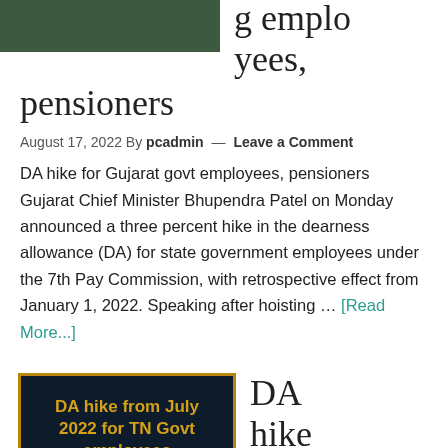[Figure (photo): Green banner image, partially visible at top]
g employees, pensioners
August 17, 2022 By pcadmin — Leave a Comment
DA hike for Gujarat govt employees, pensioners Gujarat Chief Minister Bhupendra Patel on Monday announced a three percent hike in the dearness allowance (DA) for state government employees under the 7th Pay Commission, with retrospective effect from January 1, 2022. Speaking after hoisting … [Read More...]
[Figure (photo): Dark blue banner with gold border showing text: DA hike from July 2022 for TN Govt employees]
DA hike from